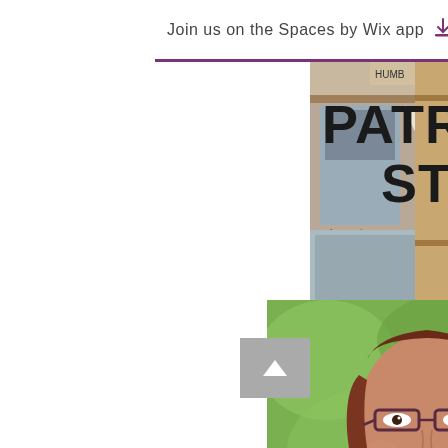Join us on the Spaces by Wix app
PATRICIA'S STORY
[Figure (photo): Portrait photo of a woman with glasses and brown hair, smiling, outdoors with green background, wearing a dark top and necklace]
[Figure (photo): Right side panel showing a laboratory setting with equipment, cables, and shelving]